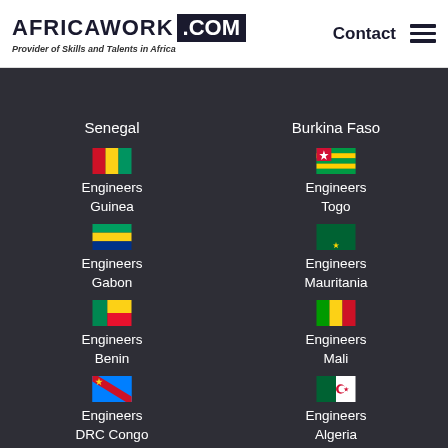AFRICAWORK.COM — Provider of Skills and Talents in Africa | Contact
Senegal
Burkina Faso
[Figure (illustration): Guinea flag (red, yellow, green vertical stripes)]
Engineers Guinea
[Figure (illustration): Togo flag (green and yellow stripes with red canton and white star)]
Engineers Togo
[Figure (illustration): Gabon flag (green, yellow, blue horizontal stripes)]
Engineers Gabon
[Figure (illustration): Mauritania flag (dark green with yellow crescent and star)]
Engineers Mauritania
[Figure (illustration): Benin flag (green left, yellow top-right, red bottom-right)]
Engineers Benin
[Figure (illustration): Mali flag (green, yellow, red vertical stripes)]
Engineers Mali
[Figure (illustration): DRC Congo flag (sky blue diagonal with red stripe and yellow star)]
Engineers DRC Congo
[Figure (illustration): Algeria flag (green and white halves with red crescent and star)]
Engineers Algeria
[Figure (illustration): Tunisia flag (red with white circle containing red crescent and star)]
[Figure (illustration): Niger flag (orange, white, green horizontal stripes with orange circle)]